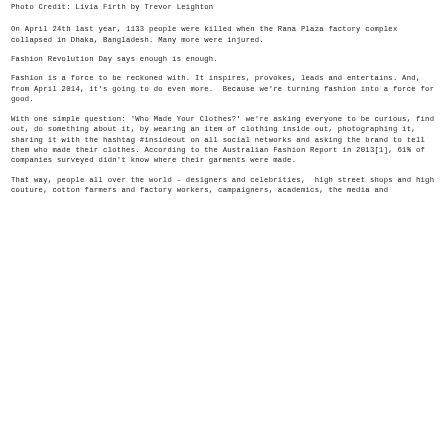Photo Credit: Livia Firth by Trevor Leighton
On April 24th last year, 1133 people were killed when the Rana Plaza factory complex collapsed in Dhaka, Bangladesh. Many more were injured.
Fashion Revolution Day says enough is enough.
Fashion is a force to be reckoned with. It inspires, provokes, leads and entertains. And, from April 2014, it's going to do even more. Because we're turning fashion into a force for good.
With one simple question: 'Who Made Your Clothes?' we're asking everyone to be curious, find out, do something about it, by wearing an item of clothing inside out, photographing it, sharing it with the hashtag #insideout on all social networks and asking the brand to tell them who made their clothes. According to the Australian Fashion Report in 2013[1], 61% of companies surveyed didn't know where their garments were made.
That way, people all over the world – designers and celebrities, high street shops and high couture, cotton farmers and factory workers, campaigners, academics, the media and